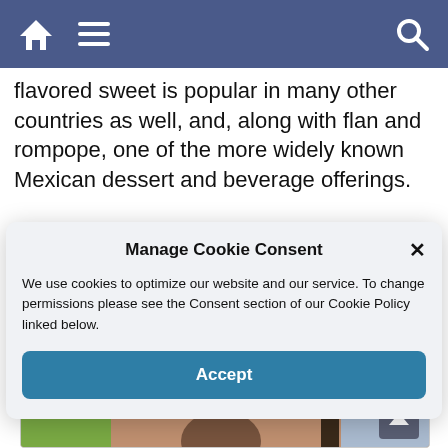Navigation bar with home, menu, and search icons
flavored sweet is popular in many other countries as well, and, along with flan and rompope, one of the more widely known Mexican dessert and beverage offerings.
Manage Cookie Consent
We use cookies to optimize our website and our service. To change permissions please see the Consent section of our Cookie Policy linked below.
Accept
[Figure (photo): Partial view of a photo showing a person and greenery in an interior setting]